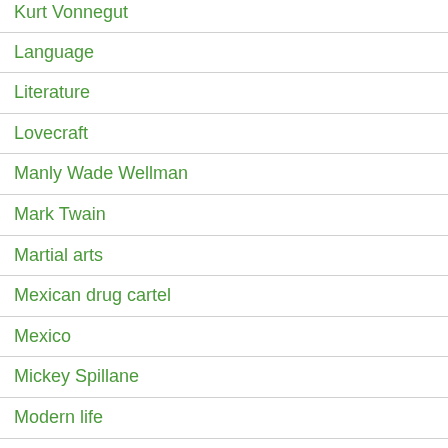Kurt Vonnegut
Language
Literature
Lovecraft
Manly Wade Wellman
Mark Twain
Martial arts
Mexican drug cartel
Mexico
Mickey Spillane
Modern life
Movies
Music